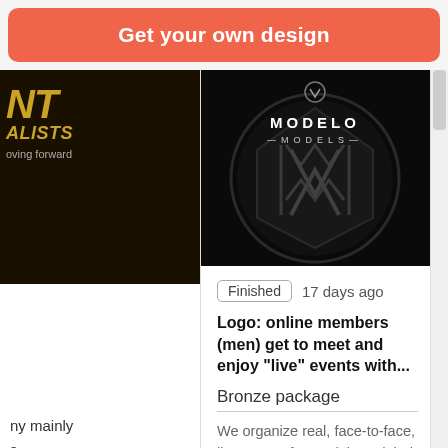Get your own design
[Figure (logo): Modelo Models logo — dark circular emblem with interlocking geometric shapes and text 'MODELO MODELS' in white on black background]
Finished  17 days ago
Logo: online members (men) get to meet and enjoy "live" events with...
Bronze package
We organize real, face-to-face, live events for models and their fan base (followers, rotating the location...